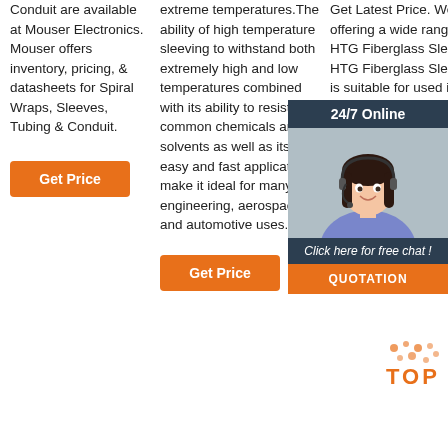Conduit are available at Mouser Electronics. Mouser offers inventory, pricing, & datasheets for Spiral Wraps, Sleeves, Tubing & Conduit.
Get Price
extreme temperatures.The ability of high temperature sleeving to withstand both extremely high and low temperatures combined with its ability to resist common chemicals and solvents as well as its easy and fast application make it ideal for many engineering, aerospace and automotive uses.
Get Latest Price. We are offering a wide range of HTG Fiberglass Sleeving. HTG Fiberglass Sleeving is suitable for used in temperature voltage applications as coffee toasters small home appliances flexibility and expandability of the Fiberglass...
[Figure (photo): Customer service representative with headset, overlaid with 24/7 Online chat widget and Quotation button]
Get Price